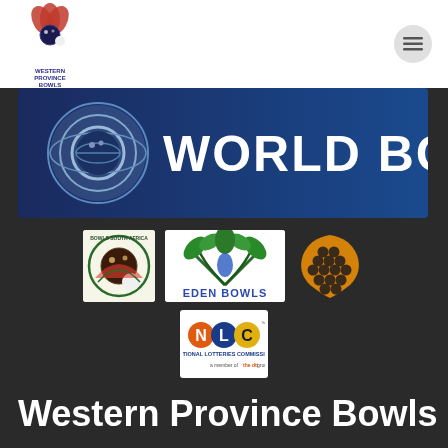[Figure (logo): Western Province Bowls logo - red flower with bowling ball, text below]
[Figure (logo): Hamburger menu button - three horizontal lines in a gray circle]
[Figure (logo): World Bowls banner - blue background with concentric circles logo and WORLD BOWLS text in white]
[Figure (logo): Bowls South Africa logo - circular logo with bowling ball and flowers]
[Figure (logo): Eden Bowls logo - green plant/fern design with EDEN BOWLS text]
[Figure (logo): Grape cluster illustration in yellow/orange on dark background]
[Figure (logo): NLC National Lotteries Commission logo - colorful letters N, L, C with tagline a member of the dti group]
Western Province Bowls